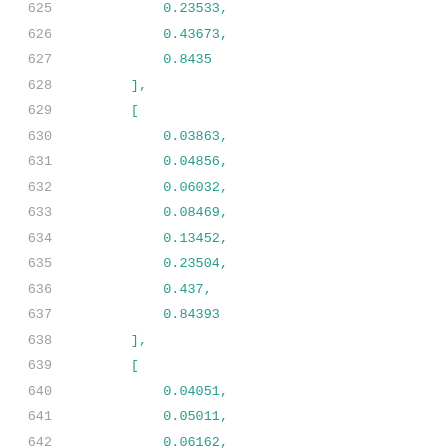625    0.23533,
626    0.43673,
627    0.8435
628    ],
629    [
630    0.03863,
631    0.04856,
632    0.06032,
633    0.08469,
634    0.13452,
635    0.23504,
636    0.437,
637    0.84393
638    ],
639    [
640    0.04051,
641    0.05011,
642    0.06162,
643    0.08592,
644    0.13534,
645    0.23635,